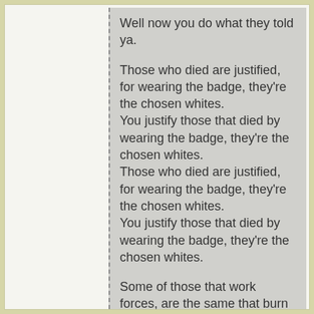Well now you do what they told ya.
Those who died are justified, for wearing the badge, they're the chosen whites.
You justify those that died by wearing the badge, they're the chosen whites.
Those who died are justified, for wearing the badge, they're the chosen whites.
You justify those that died by wearing the badge, they're the chosen whites.
Some of those that work forces, are the same that burn crosses.
Some of those that work forces, are the same that burn crosses.
Some of those that work forces, are the same that burn crosses.
Some of those that work forces, are the same that burn crosses.
Uggh!
Killing in the name of...